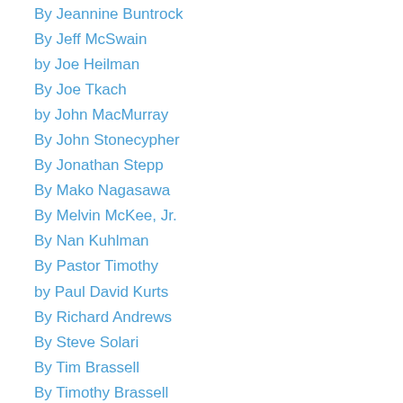By Jeannine Buntrock
By Jeff McSwain
by Joe Heilman
By Joe Tkach
by John MacMurray
By John Stonecypher
By Jonathan Stepp
By Mako Nagasawa
By Melvin McKee, Jr.
By Nan Kuhlman
By Pastor Timothy
by Paul David Kurts
By Richard Andrews
By Steve Solari
By Tim Brassell
By Timothy Brassell
by Tony Marra
by William Paul Young
By Xiara Lee
Children's Ministry